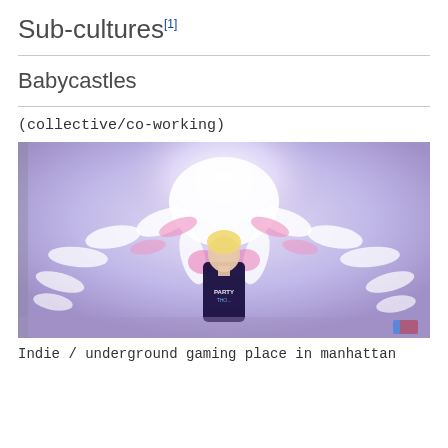Sub-cultures
Babycastles
(collective/co-working)
[Figure (photo): A person standing in front of a large illuminated wall mural featuring an octopus-like creature in pink and white on a purple/blue background. The person is wearing a black tank top that says PARTY.]
Indie / underground gaming place in manhattan